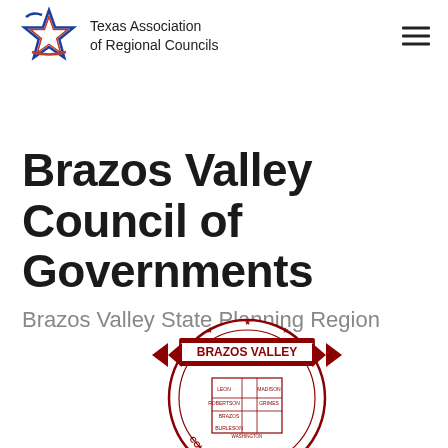Texas Association of Regional Councils
Brazos Valley Council of Governments
Brazos Valley State Planning Region
[Figure (logo): Brazos Valley Council of Governments circular seal in dark red/maroon, featuring a map of the region counties, stars, ribbon banners reading 'BRAZOS VALLEY' and 'COUNCIL OF GOVERNMENTS']